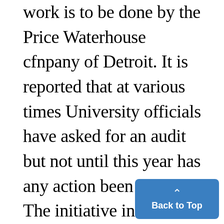work is to be done by the Price Waterhouse cfnpany of Detroit. It is reported that at various times University officials have asked for an audit but not until this year has any action been taken. The initiative in this matter has been taken, it is said, by Regent Ralph Stone of Detroit, chairman of the finance committee of the Board of Regents. The American Hospital association has prepared a uniform accounting system for hospitals so that sta may be compared easily. This s